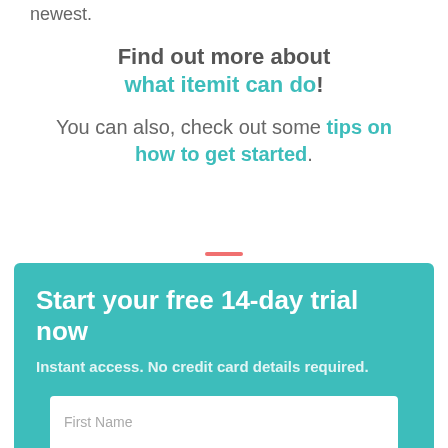newest.
Find out more about what itemit can do!
You can also, check out some tips on how to get started.
Start your free 14-day trial now
Instant access. No credit card details required.
First Name